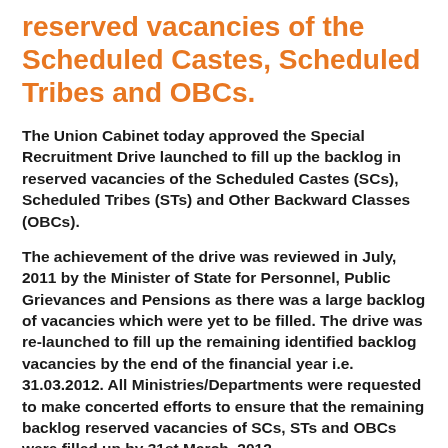reserved vacancies of the Scheduled Castes, Scheduled Tribes and OBCs.
The Union Cabinet today approved the Special Recruitment Drive launched to fill up the backlog in reserved vacancies of the Scheduled Castes (SCs), Scheduled Tribes (STs) and Other Backward Classes (OBCs).
The achievement of the drive was reviewed in July, 2011 by the Minister of State for Personnel, Public Grievances and Pensions as there was a large backlog of vacancies which were yet to be filled. The drive was re-launched to fill up the remaining identified backlog vacancies by the end of the financial year i.e. 31.03.2012. All Ministries/Departments were requested to make concerted efforts to ensure that the remaining backlog reserved vacancies of SCs, STs and OBCs were filled up by 31st March, 2012.
The achievement of the Special Recruitment Drive on its